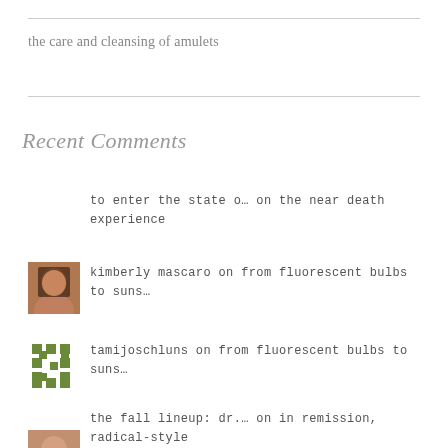the care and cleansing of amulets
Recent Comments
to enter the state o… on the near death experience
kimberly mascaro on from fluorescent bulbs to suns…
tamijoschluns on from fluorescent bulbs to suns…
the fall lineup: dr.… on in remission, radical-style